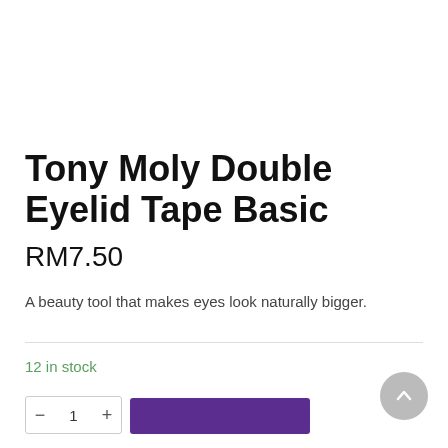Tony Moly Double Eyelid Tape Basic
RM7.50
A beauty tool that makes eyes look naturally bigger.
12 in stock